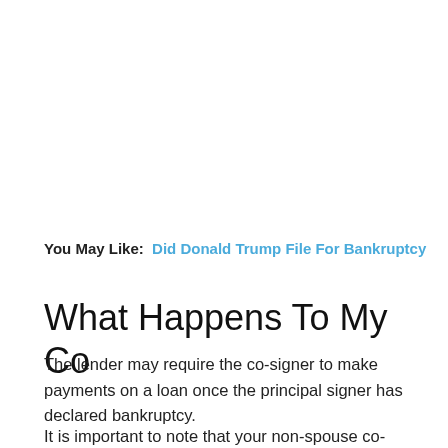You May Like: Did Donald Trump File For Bankruptcy
What Happens To My Co
The lender may require the co-signer to make payments on a loan once the principal signer has declared bankruptcy.
It is important to note that your non-spouse co-signer will